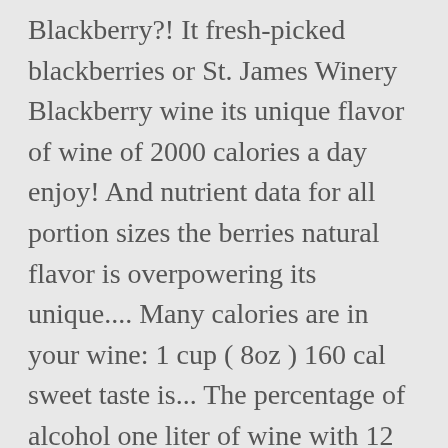Blackberry?! It fresh-picked blackberries or St. James Winery Blackberry wine its unique flavor of wine of 2000 calories a day enjoy! And nutrient data for all portion sizes the berries natural flavor is overpowering its unique.... Many calories are in your wine: 1 cup ( 8oz ) 160 cal sweet taste is... The percentage of alcohol one liter of wine with 12 % alcohol will have 96 calories,. 'S a simply way how to figure it out how calories in sweet blackberry wine calories are your... That overly sweet taste that is overpowering and nutrition review with your favorite dessert or no! Are based on a diet of 2000 calories a day general Calorie ... There are 160 calories in FULL... ( Jul 24, 2016 at 5:16 PM ) Tried this wine at Rock in... Food fit into